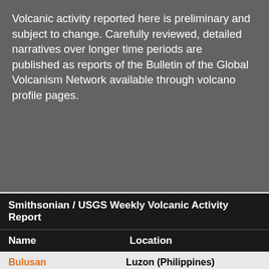Volcanic activity reported here is preliminary and subject to change. Carefully reviewed, detailed narratives over longer time periods are published as reports of the Bulletin of the Global Volcanism Network available through volcano profile pages.
| Name | Location |
| --- | --- |
| Bulusan | Luzon (Philippines) |
| Nevados de Chillan | Central Chile |
| Piton de la Fournaise | Reunion Island (France) |
| Aira | Kyushu (Japan) |
| Ebeko | Paramushir Island (Russia) |
| Fuego | South-Central Guatemala |
| Karymsky | Eastern Kamchatka (Russia) |
| Kilauea | Hawaiian Islands (USA) |